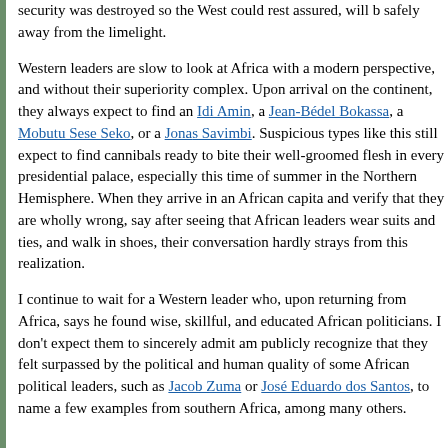security was destroyed so the West could rest assured, will be safely away from the limelight.
Western leaders are slow to look at Africa with a modern perspective, and without their superiority complex. Upon arrival on the continent, they always expect to find an Idi Amin, a Jean-Bédel Bokassa, a Mobutu Sese Seko, or a Jonas Savimbi. Suspicious types like this still expect to find cannibals ready to bite their well-groomed flesh in every presidential palace, especially this time of summer in the Northern Hemisphere. When they arrive in an African capital and verify that they are wholly wrong, say after seeing that African leaders wear suits and ties, and walk in shoes, their conversation hardly strays from this realization.
I continue to wait for a Western leader who, upon returning from Africa, says he found wise, skillful, and educated African politicians. I don't expect them to sincerely admit and publicly recognize that they felt surpassed by the political and human quality of some African political leaders, such as Jacob Zuma or José Eduardo dos Santos, to name a few examples from southern Africa, among many others.